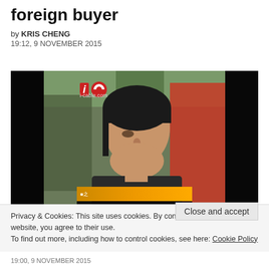foreign buyer
by KRIS CHENG
19:12, 9 NOVEMBER 2015
[Figure (screenshot): Video screenshot from i-cable.com showing a young Asian man in profile view, with i-cable TV logo in upper left corner and news ticker bar at the bottom.]
Privacy & Cookies: This site uses cookies. By continuing to use this website, you agree to their use.
To find out more, including how to control cookies, see here: Cookie Policy
Close and accept
19:00, 9 NOVEMBER 2015